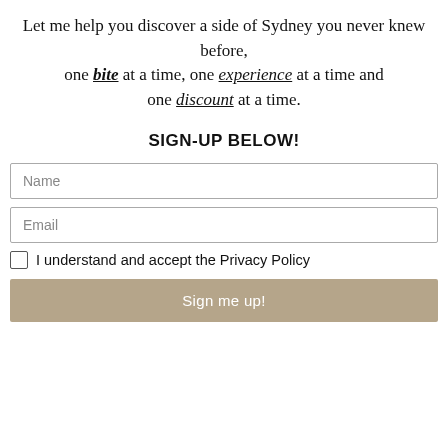Let me help you discover a side of Sydney you never knew before, one bite at a time, one experience at a time and one discount at a time.
SIGN-UP BELOW!
Name
Email
I understand and accept the Privacy Policy
Sign me up!